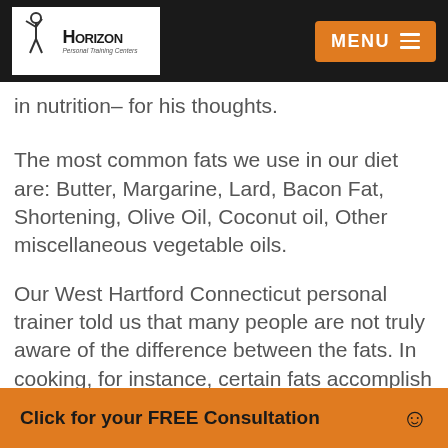Horizon Personal Training Centers | MENU
in nutrition– for his thoughts.
The most common fats we use in our diet are: Butter, Margarine, Lard, Bacon Fat, Shortening, Olive Oil, Coconut oil, Other miscellaneous vegetable oils.
Our West Hartford Connecticut personal trainer told us that many people are not truly aware of the difference between the fats. In cooking, for instance, certain fats accomplish certain results.
In our bodies, it is the same way. Essentially there
Click for your FREE Consultation